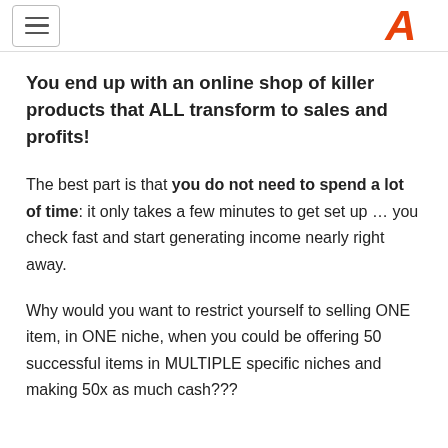[hamburger menu] [A logo]
You end up with an online shop of killer products that ALL transform to sales and profits!
The best part is that you do not need to spend a lot of time: it only takes a few minutes to get set up … you check fast and start generating income nearly right away.
Why would you want to restrict yourself to selling ONE item, in ONE niche, when you could be offering 50 successful items in MULTIPLE specific niches and making 50x as much cash???